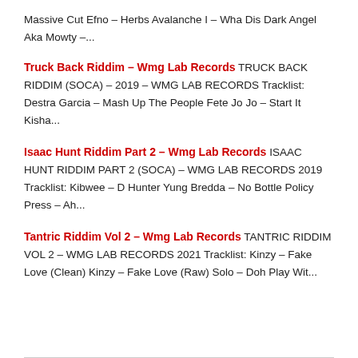Massive Cut Efno – Herbs Avalanche I – Wha Dis Dark Angel Aka Mowty –...
Truck Back Riddim – Wmg Lab Records TRUCK BACK RIDDIM (SOCA) – 2019 – WMG LAB RECORDS Tracklist: Destra Garcia – Mash Up The People Fete Jo Jo – Start It Kisha...
Isaac Hunt Riddim Part 2 – Wmg Lab Records ISAAC HUNT RIDDIM PART 2 (SOCA) – WMG LAB RECORDS 2019 Tracklist: Kibwee – D Hunter Yung Bredda – No Bottle Policy Press – Ah...
Tantric Riddim Vol 2 – Wmg Lab Records TANTRIC RIDDIM VOL 2 – WMG LAB RECORDS 2021 Tracklist: Kinzy – Fake Love (Clean) Kinzy – Fake Love (Raw) Solo – Doh Play Wit...